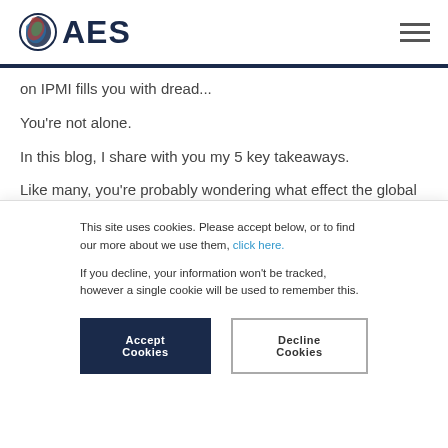AES
on IPMI fills you with dread...
You're not alone.
In this blog, I share with you my 5 key takeaways.
Like many, you're probably wondering what effect the global pandemic will have on your organisation and on your role personally.
This site uses cookies. Please accept below, or to find our more about we use them, click here.
If you decline, your information won't be tracked, however a single cookie will be used to remember this.